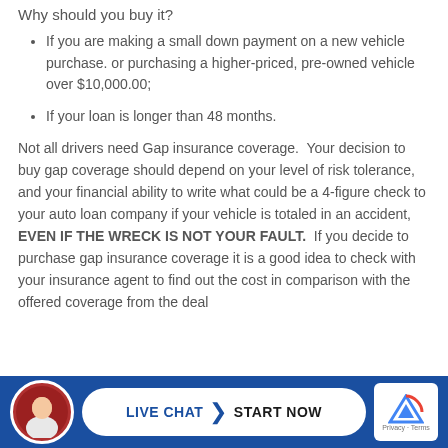Why should you buy it?
If you are making a small down payment on a new vehicle purchase. or purchasing a higher-priced, pre-owned vehicle over $10,000.00;
If your loan is longer than 48 months.
Not all drivers need Gap insurance coverage. Your decision to buy gap coverage should depend on your level of risk tolerance, and your financial ability to write what could be a 4-figure check to your auto loan company if your vehicle is totaled in an accident, EVEN IF THE WRECK IS NOT YOUR FAULT. If you decide to purchase gap insurance coverage it is a good idea to check with your insurance agent to find out the cost in comparison with the offered coverage from the dealer before